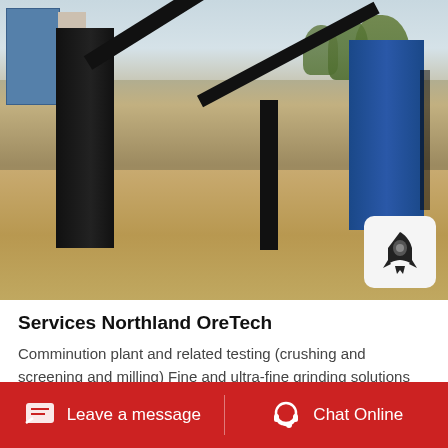[Figure (photo): Industrial mining conveyor belt and crushing plant equipment on a sandy construction site, with buildings and trees in the background. A rocket icon button overlay appears in the lower-right corner of the photo.]
Services Northland OreTech
Comminution plant and related testing (crushing and screening and milling) Fine and ultra-fine grinding solutions Energy calculations in plant practices towards eco-efficient mining and
Leave a message   Chat Online